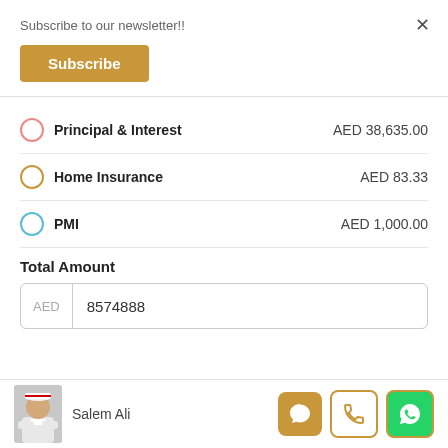Subscribe to our newsletter!!
Subscribe
Principal & Interest — AED 38,635.00
Home Insurance — AED 83.33
PMI — AED 1,000.00
Total Amount
| AED | Value |
| --- | --- |
| AED | 8574888 |
Salem Ali